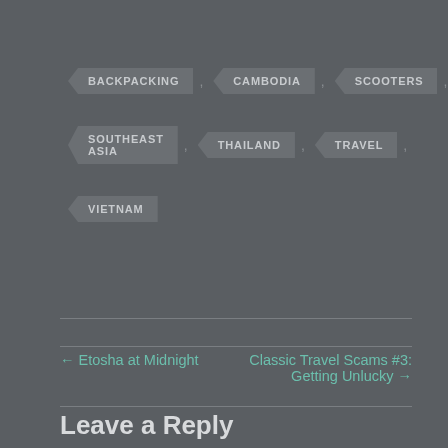BACKPACKING , CAMBODIA , SCOOTERS ,
SOUTHEAST ASIA , THAILAND , TRAVEL ,
VIETNAM
← Etosha at Midnight
Classic Travel Scams #3: Getting Unlucky →
Leave a Reply